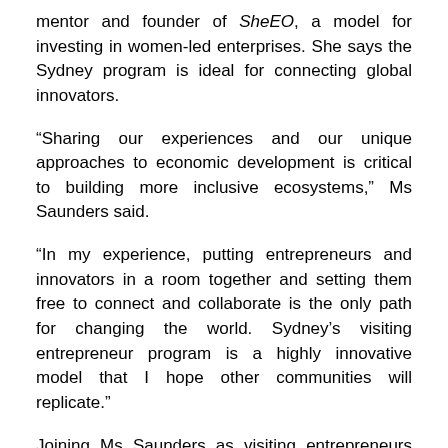mentor and founder of SheEO, a model for investing in women-led enterprises. She says the Sydney program is ideal for connecting global innovators.
“Sharing our experiences and our unique approaches to economic development is critical to building more inclusive ecosystems,” Ms Saunders said.
“In my experience, putting entrepreneurs and innovators in a room together and setting them free to connect and collaborate is the only path for changing the world. Sydney’s visiting entrepreneur program is a highly innovative model that I hope other communities will replicate.”
Joining Ms Saunders as visiting entrepreneurs will be Jager McConnell, CEO of Crunchbase, a leading data search platform used by millions of entrepreneurs and investors, and Marcus Segal, general partner at Upshift Capital and former senior vice president of operations of global gaming